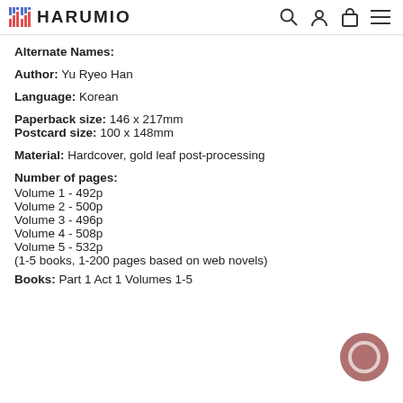HARUMIO
Alternate Names:
Author: Yu Ryeo Han
Language: Korean
Paperback size: 146 x 217mm
Postcard size: 100 x 148mm
Material: Hardcover, gold leaf post-processing
Number of pages:
Volume 1 - 492p
Volume 2 - 500p
Volume 3 - 496p
Volume 4 - 508p
Volume 5 - 532p
(1-5 books, 1-200 pages based on web novels)
Books: Part 1 Act 1 Volumes 1-5